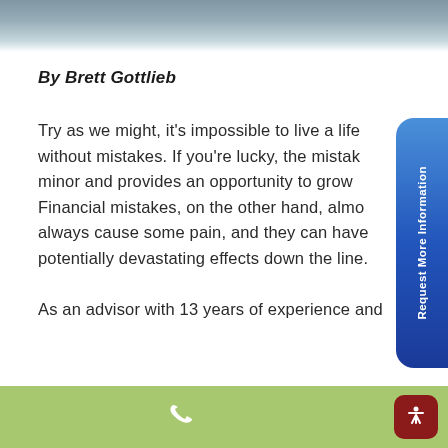[Header image: outdoor scene]
By Brett Gottlieb
Try as we might, it's impossible to live a life without mistakes. If you're lucky, the mistakes are minor and provides an opportunity to grow. Financial mistakes, on the other hand, almost always cause some pain, and they can have potentially devastating effects down the line.
As an advisor with 13 years of experience and
Request More Information [phone icon] [accessibility icon]